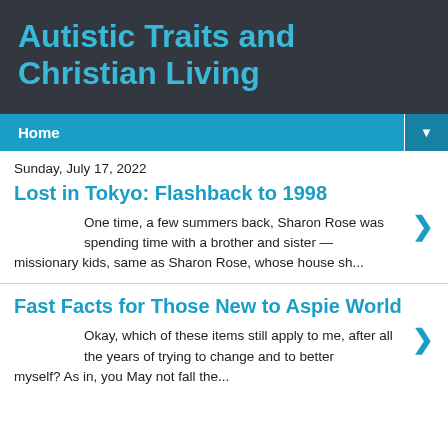Autistic Traits and Christian Living
Home
Sunday, July 17, 2022
Lost in Tokyo: Flashback to 1998
One time, a few summers back, Sharon Rose was spending time with a brother and sister — missionary kids, same as Sharon Rose, whose house sh...
Fast Facts for Those New to Aspie World
Okay, which of these items still apply to me, after all the years of trying to change and to better myself? As in, you May not fall the...